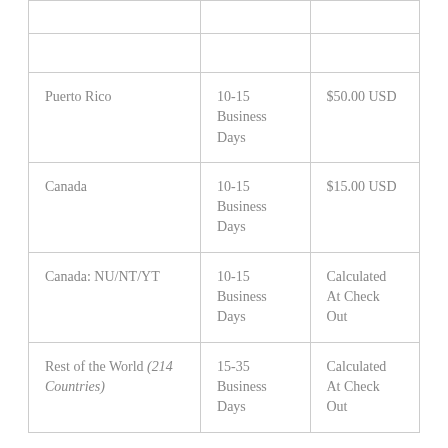|  |  |  |
|  |  |  |
| Puerto Rico | 10-15 Business Days | $50.00 USD |
| Canada | 10-15 Business Days | $15.00 USD |
| Canada: NU/NT/YT | 10-15 Business Days | Calculated At Check Out |
| Rest of the World (214 Countries) | 15-35 Business Days | Calculated At Check Out |